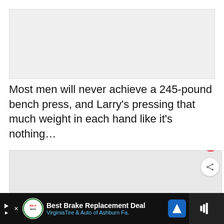[Figure (other): Gray placeholder rectangle for an image or video]
Most men will never achieve a 245-pound bench press, and Larry's pressing that much weight in each hand like it's nothing…
[Figure (other): Embedded video player area with heart/like button, share button, and 'WHAT'S NEXT → Hafthor Bjornsson...' next video overlay]
[Figure (other): Bottom advertisement banner: Best Brake Replacement Deal, VirginiaTire & Auto of Ashburn Fa.]